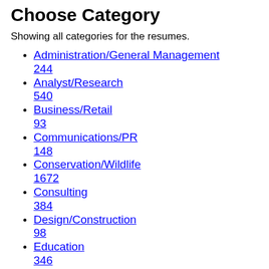Choose Category
Showing all categories for the resumes.
Administration/General Management 244
Analyst/Research 540
Business/Retail 93
Communications/PR 148
Conservation/Wildlife 1672
Consulting 384
Design/Construction 98
Education 346
Energy 243
Engineering 145
Environmental Health